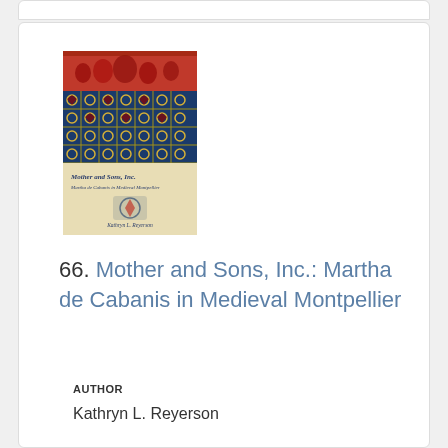[Figure (illustration): Book cover of 'Mother and Sons, Inc.: Martha de Cabanis in Medieval Montpellier' by Kathryn L. Reyerson, featuring medieval manuscript illumination artwork with figures on red background and geometric tile patterns in blue and gold, with beige lower section showing title and author name]
66. Mother and Sons, Inc.: Martha de Cabanis in Medieval Montpellier
AUTHOR
Kathryn L. Reyerson
PUBLICATION DATE